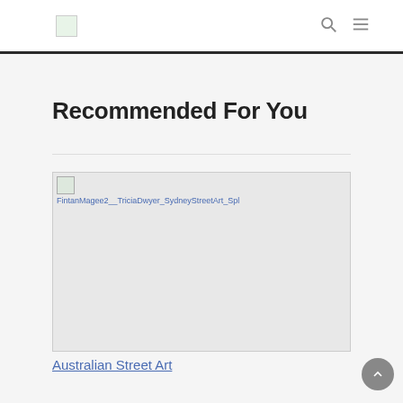Site header with logo, search icon, and menu icon
Recommended For You
[Figure (photo): Broken image placeholder showing filename FintanMagee2__TriciaDwyer_SydneyStreetArt_Spl... with a small broken image icon]
Australian Street Art